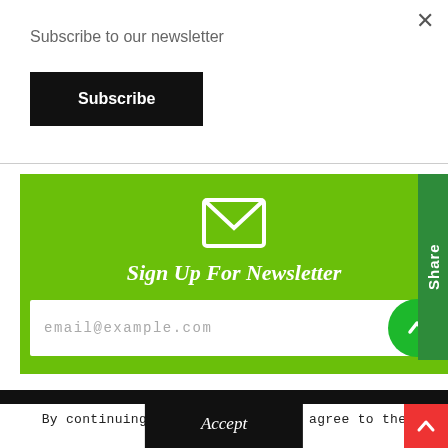Subscribe to our newsletter
Subscribe
[Figure (screenshot): Green newsletter signup banner with envelope icon, 'Sign Up For Newsletter' heading, email input field, and green circle button. A dark green 'Share' vertical tab is on the right side.]
By continuing use this site, you agree to the
Privacy Policy
Accept